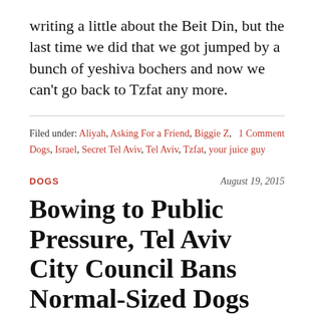writing a little about the Beit Din, but the last time we did that we got jumped by a bunch of yeshiva bochers and now we can't go back to Tzfat any more.
Filed under: Aliyah, Asking For a Friend, Biggie Z, Dogs, Israel, Secret Tel Aviv, Tel Aviv, Tzfat, your juice guy    1 Comment
DOGS
August 19, 2015
Bowing to Public Pressure, Tel Aviv City Council Bans Normal-Sized Dogs